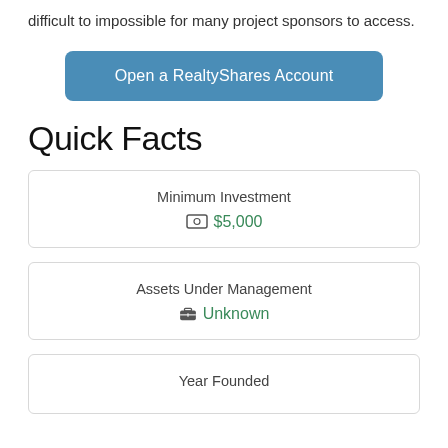difficult to impossible for many project sponsors to access.
Open a RealtyShares Account
Quick Facts
Minimum Investment
$5,000
Assets Under Management
Unknown
Year Founded